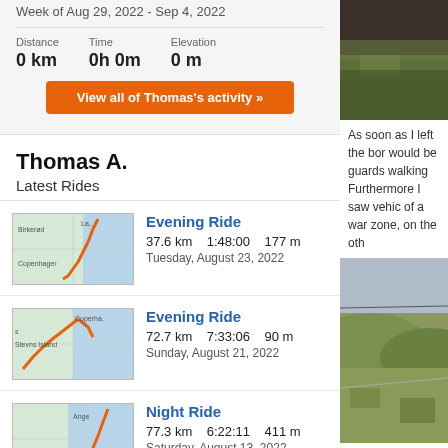Week of Aug 29, 2022 - Sep 4, 2022
Distance 0 km   Time 0h 0m   Elevation 0 m
View all of Thomas's activity »
Thomas A.
Latest Rides
Evening Ride
37.6 km   1:48:00   177 m
Tuesday, August 23, 2022
Evening Ride
72.7 km   7:33:06   90 m
Sunday, August 21, 2022
Night Ride
77.3 km   6:22:11   411 m
Saturday, August 13, 2022
Evening Ride
[Figure (photo): Mountain/hillside terrain photo (top right)]
As soon as I left the bor would be guards walking Furthermore I saw vehic of a war zone, on the oth
[Figure (photo): Mountain/hillside terrain photo (bottom right)]